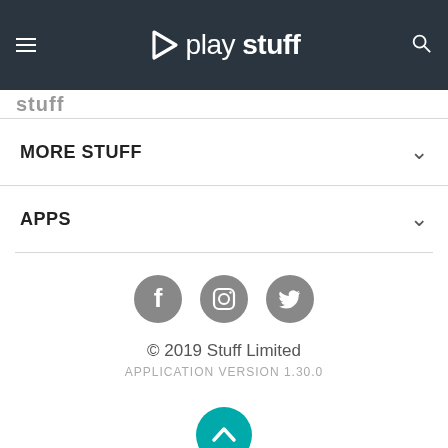[Figure (screenshot): Play Stuff app navigation bar with hamburger menu icon on the left, play-stuff logo in the center, and search icon on the right, on a dark background.]
stuff
MORE STUFF
APPS
[Figure (infographic): Three gray circular social media icons: Facebook, Instagram, and Twitter]
© 2019 Stuff Limited
APPLICATION VERSION 1.30.0
[Figure (illustration): Teal circle button with an upward-pointing chevron arrow for scrolling to top]